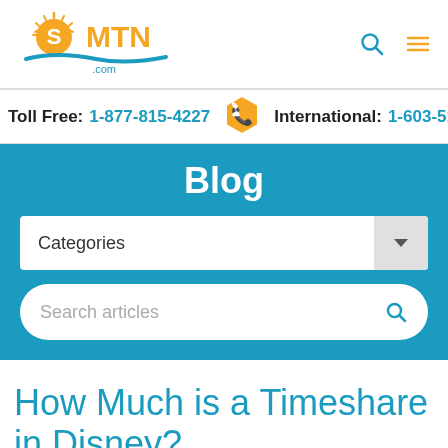[Figure (logo): SMTN.com logo with sun rays and wave]
Toll Free: 1-877-815-4227  International: 1-603-51…
Blog
Categories (dropdown)
Search articles
How Much is a Timeshare in Disney?